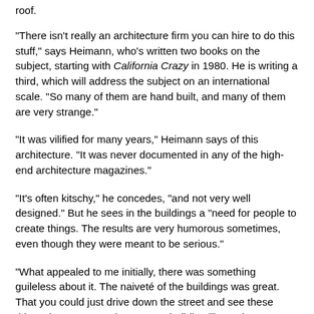roof.
"There isn't really an architecture firm you can hire to do this stuff," says Heimann, who's written two books on the subject, starting with California Crazy in 1980. He is writing a third, which will address the subject on an international scale. "So many of them are hand built, and many of them are very strange."
"It was vilified for many years," Heimann says of this architecture. "It was never documented in any of the high-end architecture magazines."
"It's often kitschy," he concedes, "and not very well designed." But he sees in the buildings a "need for people to create things. The results are very humorous sometimes, even though they were meant to be serious."
"What appealed to me initially, there was something guileless about it. The naiveté of the buildings was great. That you could just drive down the street and see these things, it was great. There was a building like a giant pup near where I lived. It resonated. It's kind of childlike."
For more on Heimann's 'Stucco Fantasy' talk, click here.
Keep in touch with the Eichler Network. SUBSCRIBE to our free e-newsletter